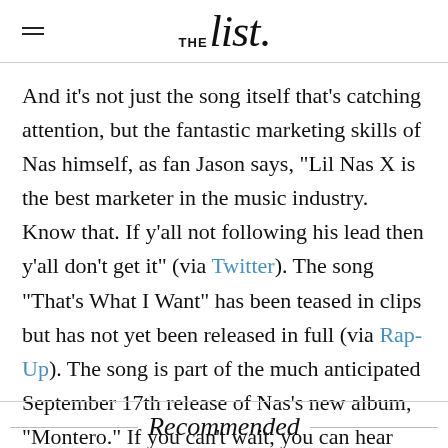THE list.
And it's not just the song itself that's catching attention, but the fantastic marketing skills of Nas himself, as fan Jason says, "Lil Nas X is the best marketer in the music industry. Know that. If y'all not following his lead then y'all don't get it" (via Twitter). The song "That's What I Want" has been teased in clips but has not yet been released in full (via Rap-Up). The song is part of the much anticipated September 17th release of Nas's new album, "Montero." If you can't wait, you can hear clips of it now, thanks to Taco Bell.
Recommended